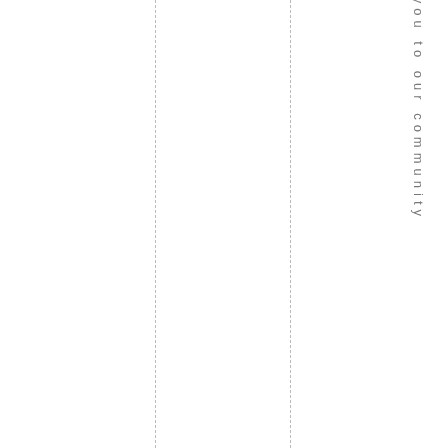I like to welcome you to our community